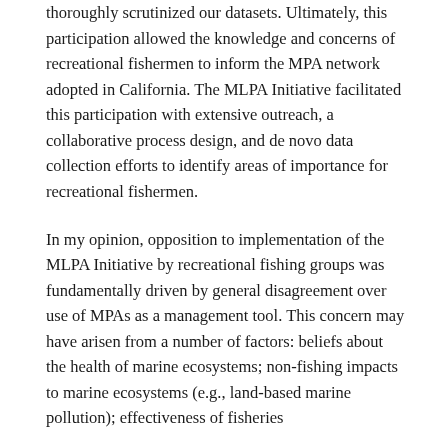thoroughly scrutinized our datasets. Ultimately, this participation allowed the knowledge and concerns of recreational fishermen to inform the MPA network adopted in California. The MLPA Initiative facilitated this participation with extensive outreach, a collaborative process design, and de novo data collection efforts to identify areas of importance for recreational fishermen.
In my opinion, opposition to implementation of the MLPA Initiative by recreational fishing groups was fundamentally driven by general disagreement over use of MPAs as a management tool. This concern may have arisen from a number of factors: beliefs about the health of marine ecosystems; non-fishing impacts to marine ecosystems (e.g., land-based marine pollution); effectiveness of fisheries